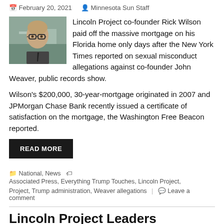February 20, 2021   Minnesota Sun Staff
[Figure (photo): Headshot of Rick Wilson, a bald man wearing glasses, with a building in the background]
Lincoln Project co-founder Rick Wilson paid off the massive mortgage on his Florida home only days after the New York Times reported on sexual misconduct allegations against co-founder John Weaver, public records show.
Wilson's $200,000, 30-year-mortgage originated in 2007 and JPMorgan Chase Bank recently issued a certificate of satisfaction on the mortgage, the Washington Free Beacon reported.
READ MORE
National, News   Associated Press, Everything Trump Touches, Lincoln Project, Trump administration, Weaver allegations   Leave a comment
Lincoln Project Leaders Reportedly Padded Pockets from Anti-Trump Donations While...